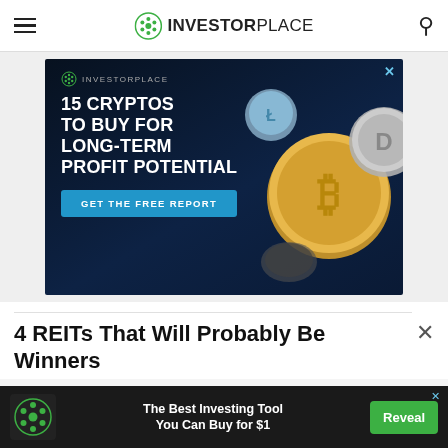INVESTORPLACE
[Figure (illustration): InvestorPlace advertisement banner: dark blue background with cryptocurrency coins (Bitcoin, Dogecoin, others). Text reads: '15 CRYPTOS TO BUY FOR LONG-TERM PROFIT POTENTIAL' with a blue button 'GET THE FREE REPORT'. InvestorPlace logo in top-left of banner.]
4 REITs That Will Probably Be Winners
[Figure (illustration): Small advertisement banner: black background with green InvestorPlace logo icon, text 'The Best Investing Tool You Can Buy for $1', and a green 'Reveal' button.]